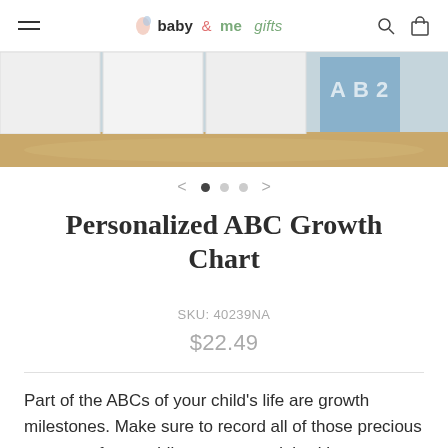baby & me gifts
[Figure (photo): Product image showing a nursery room with white curtains and a growth chart in the background]
< ● ○ ○ >
Personalized ABC Growth Chart
SKU: 40239NA
$22.49
Part of the ABCs of your child's life are growth milestones. Make sure to record all of those precious moments from toddler to young adult with our